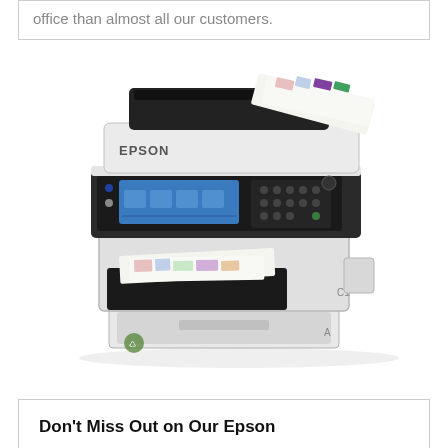office than almost all our customers.
[Figure (photo): Epson branded multifunction office printer/copier with automatic document feeder on top, color touchscreen control panel, paper tray at bottom, and printed pages visible in output tray. White and gray design with EPSON branding on front. Labels 'C1' and 'A' visible on sides.]
Don't Miss Out on Our Epson